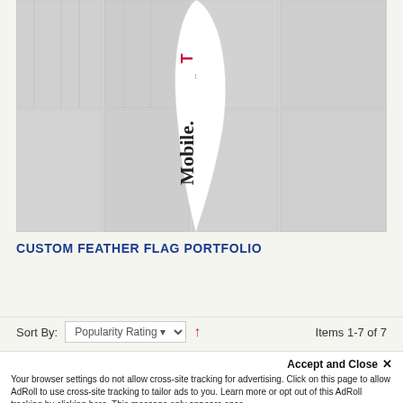[Figure (photo): A white feather flag with T-Mobile branding text running vertically, displayed against a light gray wood-panel background.]
CUSTOM FEATHER FLAG PORTFOLIO
Details >
Sort By: Popularity Rating  ↑   Items 1-7 of 7
Accept and Close ×
Your browser settings do not allow cross-site tracking for advertising. Click on this page to allow AdRoll to use cross-site tracking to tailor ads to you. Learn more or opt out of this AdRoll tracking by clicking here. This message only appears once.